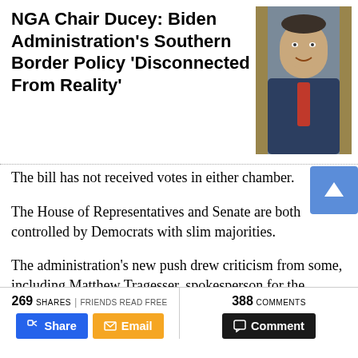NGA Chair Ducey: Biden Administration's Southern Border Policy 'Disconnected From Reality'
[Figure (photo): Photo of a man in a dark suit and red tie speaking at a podium]
The bill has not received votes in either chamber.
The House of Representatives and Senate are both controlled by Democrats with slim majorities.
The administration's new push drew criticism from some, including Matthew Tragesser, spokesperson for the Federation for American Immigration Reform, a group that seeks to end illegal immigration and reduce legal immigration.
269 SHARES | FRIENDS READ FREE   388 COMMENTS   Share   Email   Comment